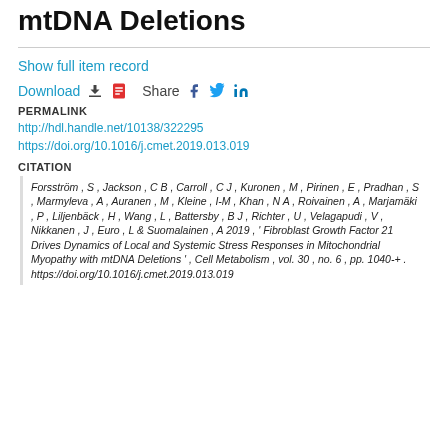mtDNA Deletions
Show full item record
Download   Share
PERMALINK
http://hdl.handle.net/10138/322295
https://doi.org/10.1016/j.cmet.2019.013.019
CITATION
Forsström , S , Jackson , C B , Carroll , C J , Kuronen , M , Pirinen , E , Pradhan , S , Marmyleva , A , Auranen , M , Kleine , I-M , Khan , N A , Roivainen , A , Marjamäki , P , Liljenbäck , H , Wang , L , Battersby , B J , Richter , U , Velagapudi , V , Nikkanen , J , Euro , L & Suomalainen , A 2019 , ' Fibroblast Growth Factor 21 Drives Dynamics of Local and Systemic Stress Responses in Mitochondrial Myopathy with mtDNA Deletions ' , Cell Metabolism , vol. 30 , no. 6 , pp. 1040-+ . https://doi.org/10.1016/j.cmet.2019.013.019